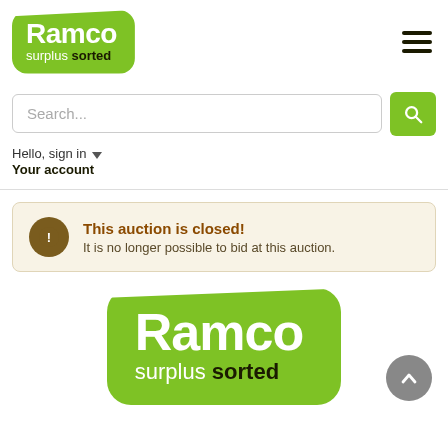[Figure (logo): Ramco surplus sorted logo — green rounded parallelogram background with white Ramco text and 'surplus sorted' below]
[Figure (other): Hamburger menu icon — three horizontal dark lines]
Search...
Hello, sign in
Your account
This auction is closed!
It is no longer possible to bid at this auction.
[Figure (logo): Large Ramco surplus sorted logo — green rounded parallelogram background with white/dark text]
[Figure (other): Scroll-to-top circular grey button with upward arrow]